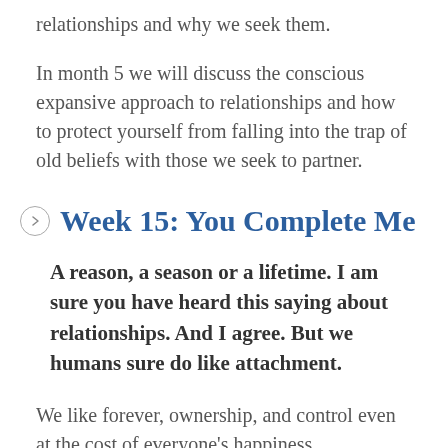relationships and why we seek them.
In month 5 we will discuss the conscious expansive approach to relationships and how to protect yourself from falling into the trap of old beliefs with those we seek to partner.
Week 15: You Complete Me
A reason, a season or a lifetime. I am sure you have heard this saying about relationships. And I agree. But we humans sure do like attachment.
We like forever, ownership, and control even at the cost of everyone's happiness.